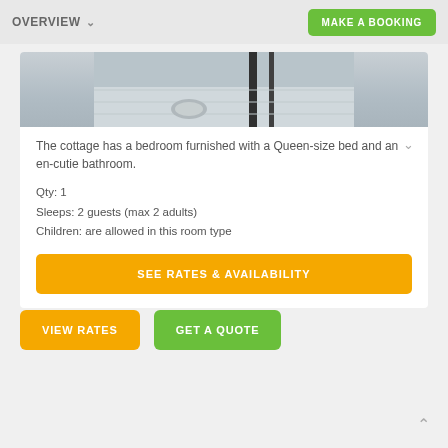OVERVIEW   MAKE A BOOKING
[Figure (photo): Partial view of a bedroom interior with light wood floor and dark furniture legs, cropped at the top]
The cottage has a bedroom furnished with a Queen-size bed and an en-cutie bathroom.
Qty: 1
Sleeps: 2 guests (max 2 adults)
Children: are allowed in this room type
SEE RATES & AVAILABILITY
VIEW RATES
GET A QUOTE